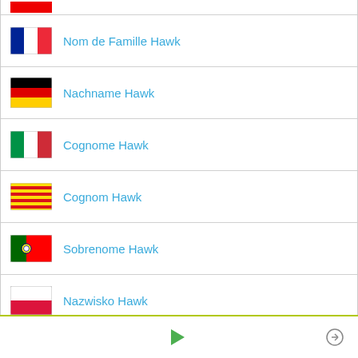Nom de Famille Hawk
Nachname Hawk
Cognome Hawk
Cognom Hawk
Sobrenome Hawk
Nazwisko Hawk
Achternaam Hawk
фамилия хawk